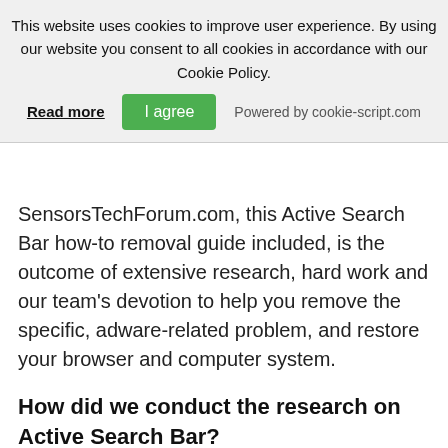This website uses cookies to improve user experience. By using our website you consent to all cookies in accordance with our Cookie Policy.
Read more | I agree | Powered by cookie-script.com
SensorsTechForum.com, this Active Search Bar how-to removal guide included, is the outcome of extensive research, hard work and our team's devotion to help you remove the specific, adware-related problem, and restore your browser and computer system.
How did we conduct the research on Active Search Bar?
Please note that our research is based on independent investigation. We are in contact with independent security researchers, thanks to which we receive daily updates on the latest malware, adware, and browser hijacker definitions.